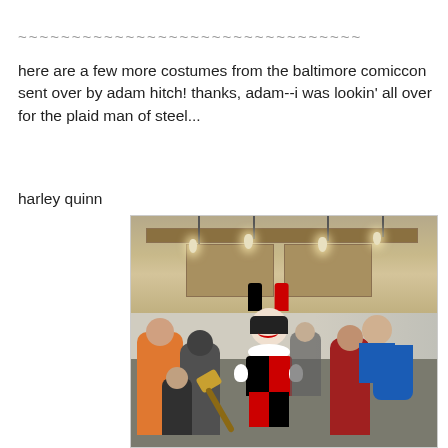~~~~~~~~~~~~~~~~~~~~~~~~~~~~~~~~
here are a few more costumes from the baltimore comiccon sent over by adam hitch! thanks, adam--i was lookin' all over for the plaid man of steel...
harley quinn
[Figure (photo): Photo of a person cosplaying as Harley Quinn in a crowded convention hall (Baltimore Comic Con). The cosplayer wears the classic black and red jester costume with white collar, black and red jester hat, and face paint with black mask. She holds a large mallet. Behind her are other convention-goers including someone in a Superman/superhero costume with a blue cape. The convention hall has pendant lights hanging from a coffered ceiling.]